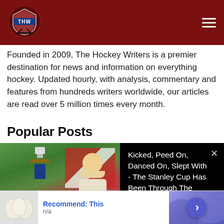[Figure (logo): THW (The Hockey Writers) shield logo in red/white/blue with hockey sticks, on dark red navigation bar]
Founded in 2009, The Hockey Writers is a premier destination for news and information on everything hockey. Updated hourly, with analysis, commentary and features from hundreds writers worldwide, our articles are read over 5 million times every month.
Popular Posts
[Figure (screenshot): Video thumbnail showing a person lifting the Stanley Cup in a crowd, with text overlay: TOP 3 CRAZIEST MOMENTS OF THE STANLEY CUP. Accompanied by black panel with text: Kicked, Peed On, Danced On, Slept With - The Stanley Cup Has Been Through The Ringer.]
[Figure (infographic): Advertisement banner: image of eggs on left, blue text Recommend: This, subtext n/a, purple/blue circular graphic with right arrow on right]